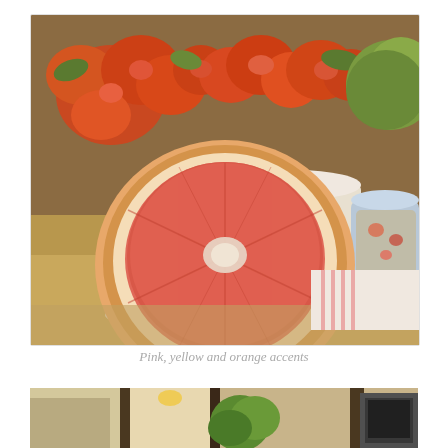[Figure (photo): A halved grapefruit showing its pink-red interior, placed on a white plate. In the background are orange roses and green foliage in a white container, and a decorative floral teacup on the right.]
Pink, yellow and orange accents
[Figure (photo): Interior room scene showing a hallway or kitchen area with warm wood tones, a pendant light, and green plant foliage visible. Partially cropped at bottom of page.]